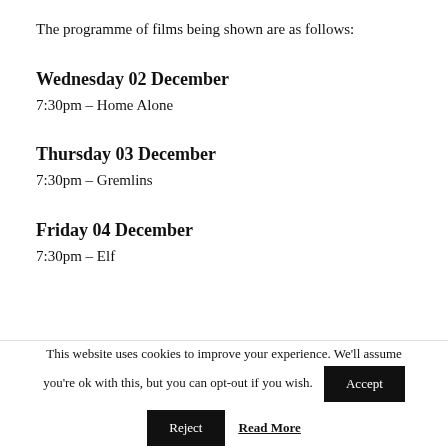The programme of films being shown are as follows:
Wednesday 02 December
7:30pm – Home Alone
Thursday 03 December
7:30pm – Gremlins
Friday 04 December
7:30pm – Elf
This website uses cookies to improve your experience. We'll assume you're ok with this, but you can opt-out if you wish.
Accept
Reject
Read More